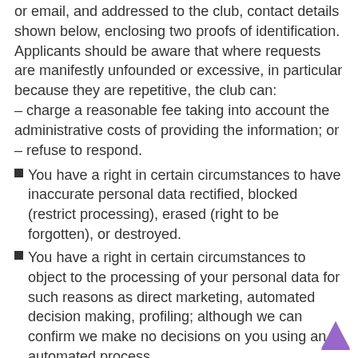or email, and addressed to the club, contact details shown below, enclosing two proofs of identification. Applicants should be aware that where requests are manifestly unfounded or excessive, in particular because they are repetitive, the club can:
– charge a reasonable fee taking into account the administrative costs of providing the information; or
– refuse to respond.
You have a right in certain circumstances to have inaccurate personal data rectified, blocked (restrict processing), erased (right to be forgotten), or destroyed.
You have a right in certain circumstances to object to the processing of your personal data for such reasons as direct marketing, automated decision making, profiling; although we can confirm we make no decisions on you using an automated process.
You have a right in certain circumstances to data portability.